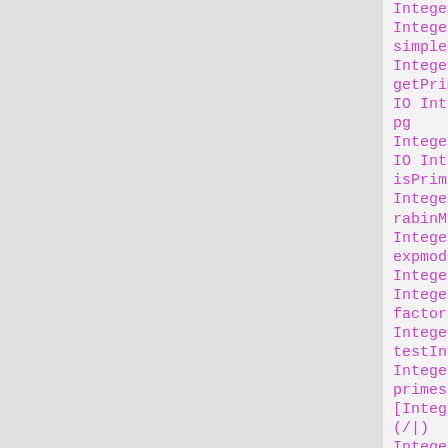Integer -> Integer -> (Integer; Integer)
simplePrimalityTest      ::
Integer -> Bool
getPrime                  :: Int ->
IO Integer
pg                        ::
Integer -> Integer -> Integer ->
IO Integer
isPrime                   ::
Integer -> IO Bool
rabinMillerPrimalityTest ::
Integer -> IO Bool
expmod                    ::
Integer -> Integer -> Integer ->
Integer
factor                    ::
Integer -> [Int]
testInverse               ::
Integer -> Integer -> Bool
primes                    ::
[Integer]
(/|)                      ::
Integer -> Integer -> Bool
randomOctet               :: Int ->
IO String

Codec.Encryption.DES

encrypt :: Word64 -> Word64 ->
Word64